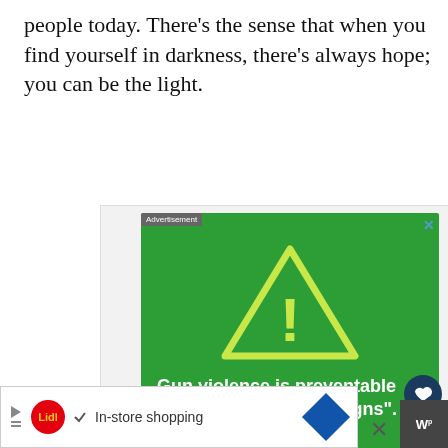people today. There’s the sense that when you find yourself in darkness, there’s always hope; you can be the light.
[Figure (screenshot): Sandy Hook Promise advertisement: green background with yellow warning triangle icon containing an exclamation mark. Text reads 'Gun violence is preventable when you "know the signs".' Sandy Hook Promise logo at bottom left, yellow 'Learn More' button at bottom right. 'Advertisement' label at top left, close X at top right.]
[Figure (screenshot): Lidl advertisement banner at bottom: Lidl circular logo, checkmark, text 'In-store shopping', blue navigation arrow diamond icon. Close X button at right.]